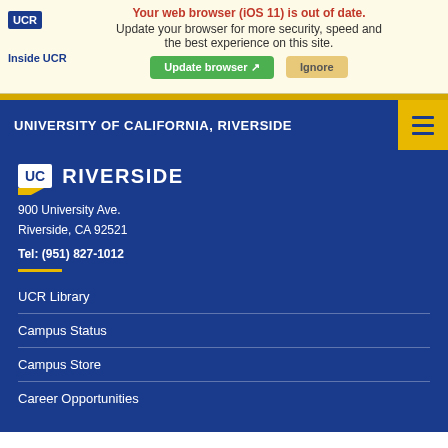[Figure (screenshot): Browser out-of-date warning banner with UCR logo, warning text, Update browser and Ignore buttons]
UNIVERSITY OF CALIFORNIA, RIVERSIDE
[Figure (logo): UC Riverside logo with UCR box and RIVERSIDE text]
900 University Ave.
Riverside, CA 92521
Tel: (951) 827-1012
UCR Library
Campus Status
Campus Store
Career Opportunities